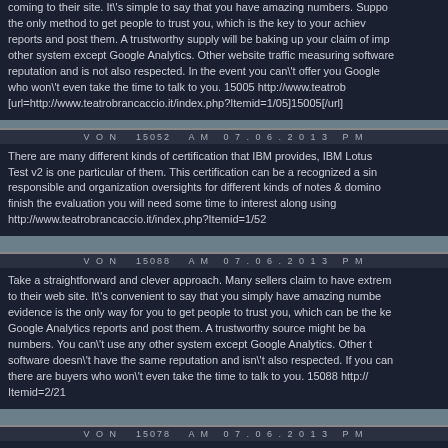coming to their site. It's simple to say that you have amazing numbers. Supporting evidence is the only method to get people to trust you, which is the key to your achievement. Take your Google Analytics reports and post them. A trustworthy supply will be baking up your claim of impressive numbers. You can't use any other system except Google Analytics. Other website traffic measuring software doesn't have the same reputation and is not also respected. In the event you can't offer you Google Analytics data, there are buyers who won't even take the time to talk to you. 15005 http://www.teatrobrancaccio.it/index.php?Itemid=1/05 [url=http://www.teatrobrancaccio.it/index.php?Itemid=1/05]15005[/url]
VON 15052 AM 07.06.2013 PM
There are many different kinds of certification that IBM provides, IBM Lotus Notes Domino App Dev Test v2 is one particular of them. This certification can be a recognized a single that makes you responsible and organization oversights for different kinds of notes & domino applications. In order to finish the evaluation you will need some time to interest along using the matter. http://www.teatrobrancaccio.it/index.php?Itemid=1/52
VON 15088 AM 07.06.2013 PM
Take a straightforward and clever approach. Many sellers claim to have extremely high traffic to their web site. It's convenient to say that you simply have amazing numbers. Supporting evidence is the only way for you to get people to trust you, which can be the key to your success. Take your Google Analytics reports and post them. A trustworthy source might be backing up your numbers. You can't use any other system except Google Analytics. Other traffic measuring software doesn't have the same reputation and isn't also respected. If you can't provide data there are buyers who won't even take the time to talk to you. 15088 http:// Itemid=2/21
VON 15078 AM 07.06.2013 PM
To grow to be a productive fashion designer, aspirants must possess some natural talent and attainment. A naturally acquired tastes combined using a formal degree can do wonders. To become an amazing sense of colour, really good knowledge of fabrics, having an aesthetic and to be properly achievers in this globe. To get a degree in fashion, one particula